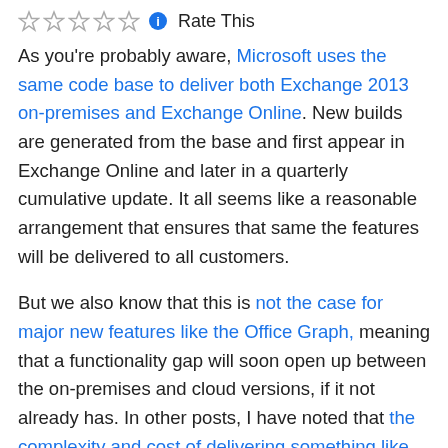Rate This
As you're probably aware, Microsoft uses the same code base to deliver both Exchange 2013 on-premises and Exchange Online. New builds are generated from the base and first appear in Exchange Online and later in a quarterly cumulative update. It all seems like a reasonable arrangement that ensures that same the features will be delivered to all customers.
But we also know that this is not the case for major new features like the Office Graph, meaning that a functionality gap will soon open up between the on-premises and cloud versions, if it not already has. In other posts, I have noted that the complexity and cost of delivering something like the Office Graph underpins Microsoft's logic in keeping these features cloud-only, but more pragmatic reasons